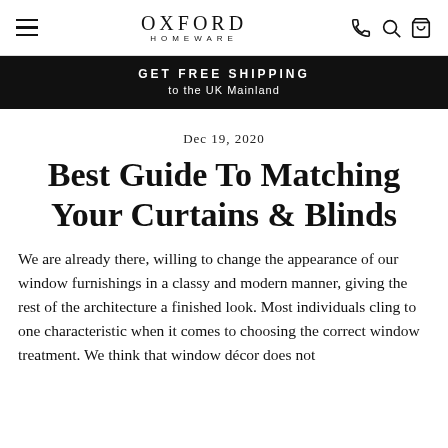OXFORD HOMEWARE
GET FREE SHIPPING to the UK Mainland
Dec 19, 2020
Best Guide To Matching Your Curtains & Blinds
We are already there, willing to change the appearance of our window furnishings in a classy and modern manner, giving the rest of the architecture a finished look. Most individuals cling to one characteristic when it comes to choosing the correct window treatment. We think that window décor does not